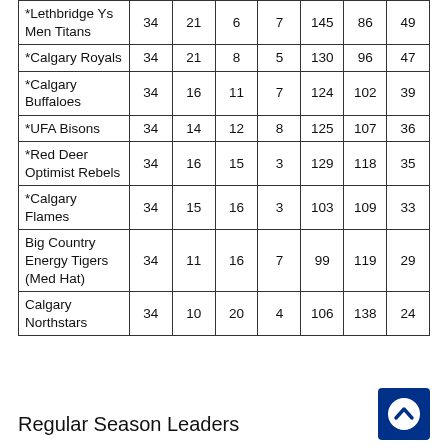| *Lethbridge Ys Men Titans | 34 | 21 | 6 | 7 | 145 | 86 | 49 |
| *Calgary Royals | 34 | 21 | 8 | 5 | 130 | 96 | 47 |
| *Calgary Buffaloes | 34 | 16 | 11 | 7 | 124 | 102 | 39 |
| *UFA Bisons | 34 | 14 | 12 | 8 | 125 | 107 | 36 |
| *Red Deer Optimist Rebels | 34 | 16 | 15 | 3 | 129 | 118 | 35 |
| *Calgary Flames | 34 | 15 | 16 | 3 | 103 | 109 | 33 |
| Big Country Energy Tigers (Med Hat) | 34 | 11 | 16 | 7 | 99 | 119 | 29 |
| Calgary Northstars | 34 | 10 | 20 | 4 | 106 | 138 | 24 |
Regular Season Leaders